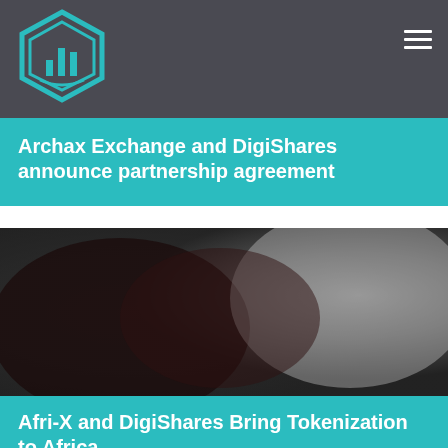DigiShares
Archax Exchange and DigiShares announce partnership agreement
[Figure (photo): Blurred dark and light abstract image used as article thumbnail]
Afri-X and DigiShares Bring Tokenization to Africa